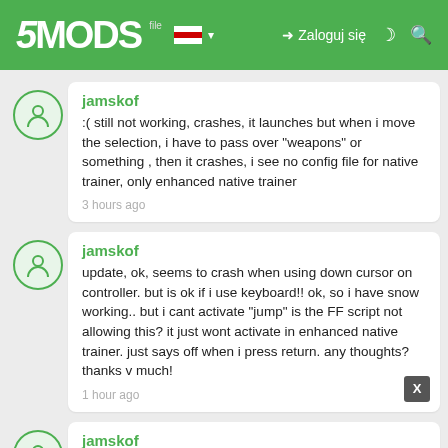5MODS | Zaloguj się
jamskof
:( still not working, crashes, it launches but when i move the selection, i have to pass over "weapons" or something , then it crashes, i see no config file for native trainer, only enhanced native trainer
3 hours ago
jamskof
update, ok, seems to crash when using down cursor on controller. but is ok if i use keyboard!! ok, so i have snow working.. but i cant activate "jump" is the FF script not allowing this? it just wont activate in enhanced native trainer. just says off when i press return. any thoughts? thanks v much!
1 hour ago
jamskof